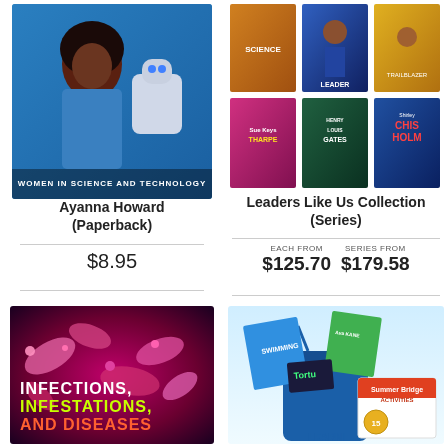[Figure (photo): Book cover for Ayanna Howard (Paperback) - Women in Science and Technology series, showing a woman with a robot on a blue background]
Ayanna Howard (Paperback)
$8.95
[Figure (photo): Collection of Leaders Like Us book covers showing various Black leaders including Shirley Chisholm, Henry Louis Gates, and others]
Leaders Like Us Collection (Series)
EACH FROM $125.70   SERIES FROM $179.58
[Figure (photo): Book cover for Infections, Infestations, and Diseases with pink/magenta bacteria imagery on dark background]
[Figure (photo): Learning bag/kit with Summer Bridge Activities book and other educational materials in a blue drawstring bag]